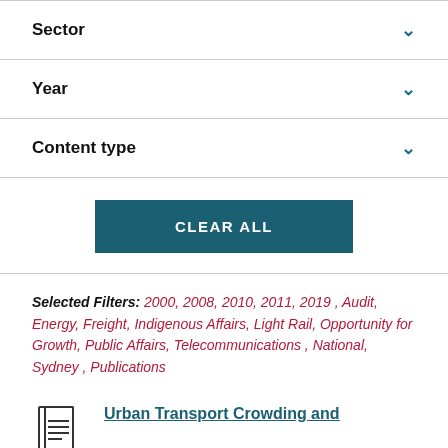Sector
Year
Content type
CLEAR ALL
Selected Filters: 2000, 2008, 2010, 2011, 2019 , Audit, Energy, Freight, Indigenous Affairs, Light Rail, Opportunity for Growth, Public Affairs, Telecommunications , National, Sydney , Publications
Urban Transport Crowding and